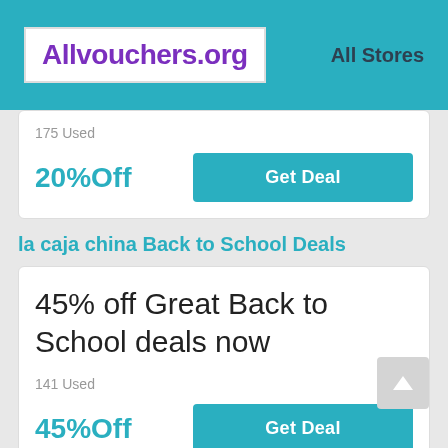Allvouchers.org  All Stores
175 Used
20%Off
Get Deal
la caja china Back to School Deals
45% off Great Back to School deals now
141 Used
45%Off
Get Deal